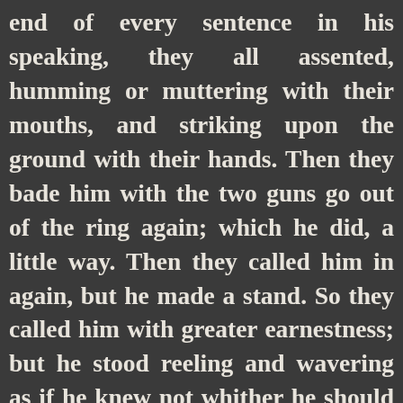end of every sentence in his speaking, they all assented, humming or muttering with their mouths, and striking upon the ground with their hands. Then they bade him with the two guns go out of the ring again; which he did, a little way. Then they called him in again, but he made a stand. So they called him with greater earnestness; but he stood reeling and wavering as if he knew not whither he should stand or fall, or which way to go. Then they called him with exceeding great vehemency, all of them, one and another. After a little while he turned in,